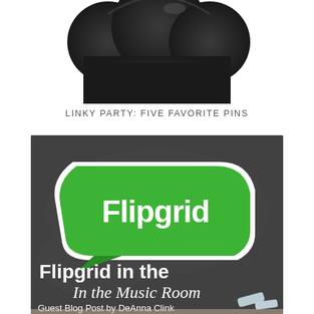[Figure (photo): Top portion of a dark cloud-shaped chalkboard eraser or decorative element, dark gray/black, partially cropped at top of page]
LINKY PARTY: FIVE FAVORITE PINS
[Figure (photo): Flipgrid logo (green speech bubble with white text 'Flipgrid') on a dark chalkboard background. Text overlay reads 'Flipgrid in the' and 'In the Music Room' in script font. Bottom text: 'Guest Blog Post by DeAnna Clink'. Chalk pieces visible in bottom right corner.]